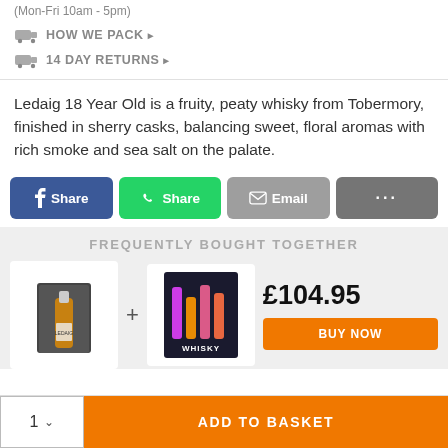(Mon-Fri 10am - 5pm)
HOW WE PACK ▶
14 DAY RETURNS ▶
Ledaig 18 Year Old is a fruity, peaty whisky from Tobermory, finished in sherry casks, balancing sweet, floral aromas with rich smoke and sea salt on the palate.
[Figure (infographic): Social share buttons: Facebook Share (blue), WhatsApp Share (green), Email (grey), More (dark grey with ellipsis)]
FREQUENTLY BOUGHT TOGETHER
[Figure (photo): Product image of a whisky bottle in a gift box]
[Figure (photo): Product image of a whisky book with colourful bottle illustrations]
£104.95
BUY NOW
ADD TO BASKET